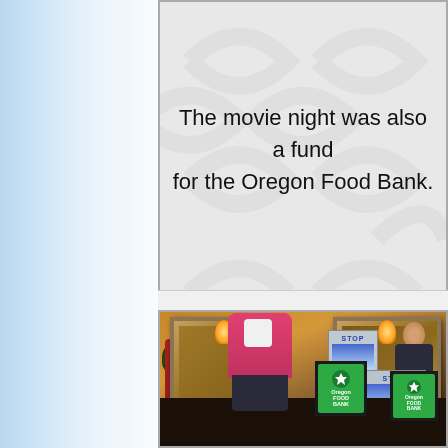The movie night was also a fundraiser for the Oregon Food Bank.
[Figure (photo): A smiling woman in a pink cardigan sits at a dark table at an event. On the table are Oregon Food Bank donation boxes and STOP sign promotional cards. Behind her is a mirror with a gold frame and wall sconces. Another person is visible in the background.]